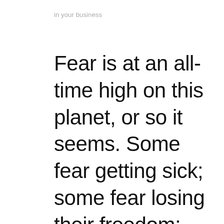in your business
Fear is at an all-time high on this planet, or so it seems. Some fear getting sick; some fear losing their freedom; some fear never getting back to normal; some fear for their business or job; some fear